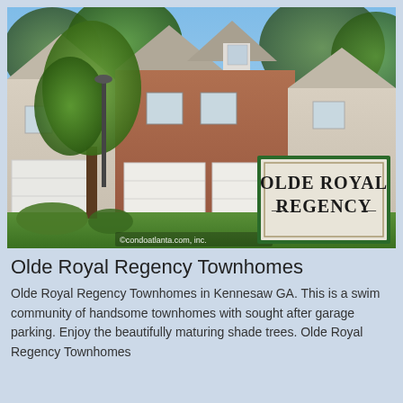[Figure (photo): Exterior photo of Olde Royal Regency Townhomes in Kennesaw GA, showing brick townhomes with white garage doors, trees, and the community entrance sign. Watermark reads ©condoatlanta.com, inc.]
Olde Royal Regency Townhomes
Olde Royal Regency Townhomes in Kennesaw GA. This is a swim community of handsome townhomes with sought after garage parking. Enjoy the beautifully maturing shade trees. Olde Royal Regency Townhomes